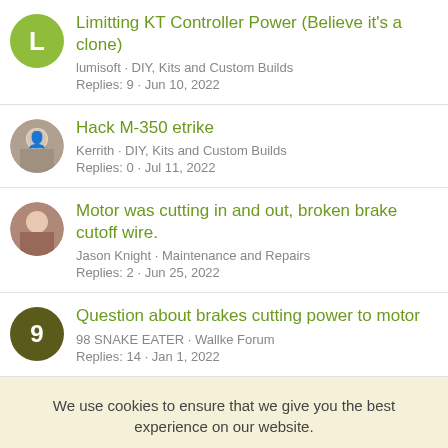Limitting KT Controller Power (Believe it's a clone)
lumisoft · DIY, Kits and Custom Builds
Replies: 9 · Jun 10, 2022
Hack M-350 etrike
Kerrith · DIY, Kits and Custom Builds
Replies: 0 · Jul 11, 2022
Motor was cutting in and out, broken brake cutoff wire.
Jason Knight · Maintenance and Repairs
Replies: 2 · Jun 25, 2022
Question about brakes cutting power to motor
98 SNAKE EATER · Wallke Forum
Replies: 14 · Jan 1, 2022
We use cookies to ensure that we give you the best experience on our website.
Accept | Learn More...